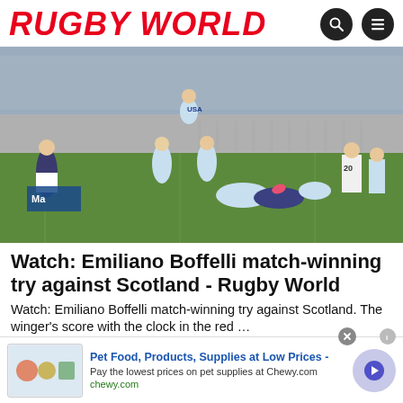RUGBY WORLD
[Figure (photo): Rugby match action photo showing Argentina players in light blue and white jerseys competing against Scotland players in dark jerseys, with players jumping in a lineout and others in a ruck on the ground.]
Watch: Emiliano Boffelli match-winning try against Scotland - Rugby World
Watch: Emiliano Boffelli match-winning try against Scotland. The winger's score with the clock in the red …
Rugby World
[Figure (infographic): Advertisement for Chewy.com: Pet Food, Products, Supplies at Low Prices - Pay the lowest prices on pet supplies at Chewy.com. chewy.com]